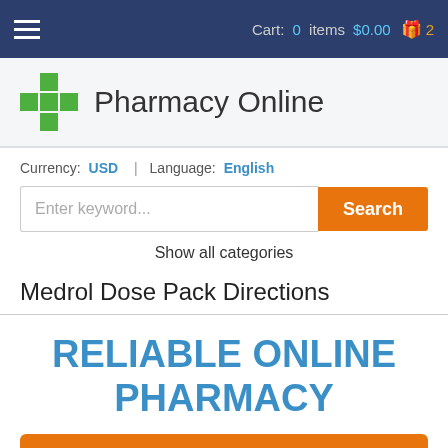Cart: 0 items $0.00  2
[Figure (logo): Green cross pharmacy logo with text 'Pharmacy Online']
Currency: USD | Language: English
Enter keyword... Search
Show all categories
Medrol Dose Pack Directions
RELIABLE ONLINE PHARMACY
> Click here to order now